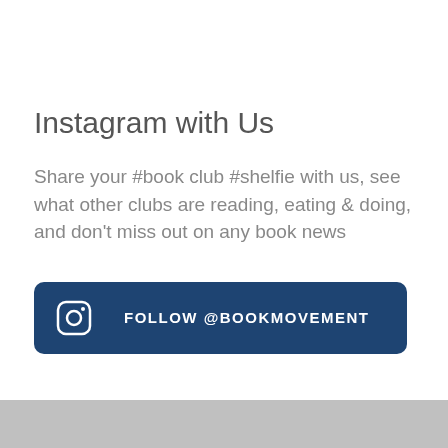Instagram with Us
Share your #book club #shelfie with us, see what other clubs are reading, eating & doing, and don't miss out on any book news
[Figure (other): Dark blue rounded button with Instagram icon and text FOLLOW @BOOKMOVEMENT]